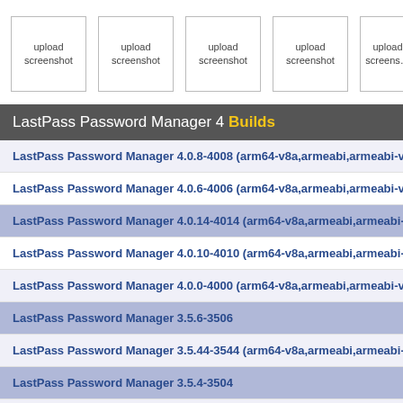[Figure (screenshot): Row of five screenshot upload placeholder boxes]
LastPass Password Manager 4 Builds
LastPass Password Manager 4.0.8-4008 (arm64-v8a,armeabi,armeabi-v7a,mip...
LastPass Password Manager 4.0.6-4006 (arm64-v8a,armeabi,armeabi-v7a,mip...
LastPass Password Manager 4.0.14-4014 (arm64-v8a,armeabi,armeabi-v7a,mi...
LastPass Password Manager 4.0.10-4010 (arm64-v8a,armeabi,armeabi-v7a,mip...
LastPass Password Manager 4.0.0-4000 (arm64-v8a,armeabi,armeabi-v7a,mip...
LastPass Password Manager 3.5.6-3506
LastPass Password Manager 3.5.44-3544 (arm64-v8a,armeabi,armeabi-v7a,mi...
LastPass Password Manager 3.5.4-3504
LastPass Password Manager 3.5.36-3536 (arm64-v8a,armeabi,armeabi-v7a,mi...
LastPass Password Manager 3.5.32-3532 (arm64-v8a,armeabi,armeabi-v7a,mi...